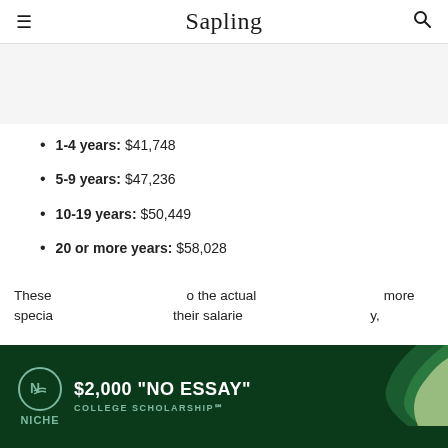Sapling
1-4 years: $41,748
5-9 years: $47,236
10-19 years: $50,449
20 or more years: $58,028
These [figures help show] the actual [salary ranges. The] more specia[lized teachers are,] their salarie[s tend to be highe]ry,
[Figure (other): Niche advertisement banner: $2,000 'NO ESSAY' COLLEGE SCHOLARSHIP with Niche logo and green swoosh design]